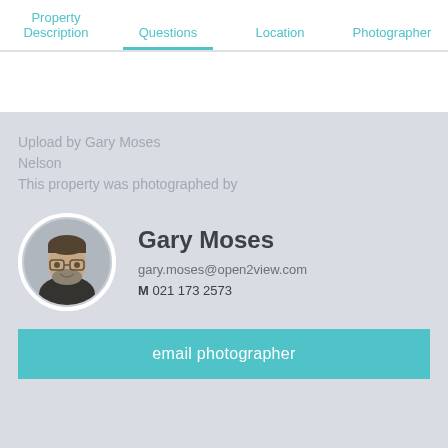Property Description | Questions | Location | Photographer
Upload by Gary Moses
Nelson
This property was photographed by
[Figure (photo): Circular headshot photo of Gary Moses, a middle-aged man with glasses and a beard, smiling]
Gary Moses
gary.moses@open2view.com
M 021 173 2573
email photographer